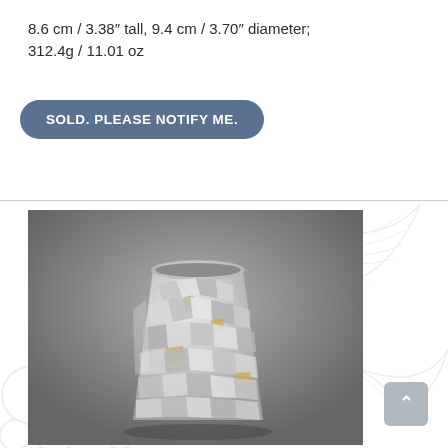8.6 cm / 3.38″ tall, 9.4 cm / 3.70″ diameter; 312.4g / 11.01 oz
SOLD. PLEASE NOTIFY ME.
[Figure (photo): A silver metallic cup/beaker with a textured faceted surface featuring geometric hammered shapes with small gold/amber inlaid accents, photographed against a grey gradient background.]